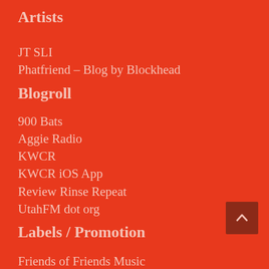Artists
JT SLI
Phatfriend – Blog by Blockhead
Blogroll
900 Bats
Aggie Radio
KWCR
KWCR iOS App
Review Rinse Repeat
UtahFM dot org
Labels / Promotion
Friends of Friends Music